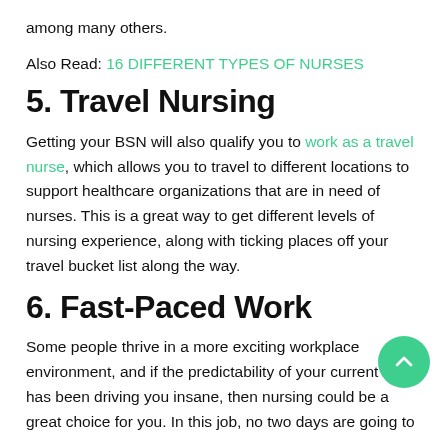among many others.
Also Read: 16 DIFFERENT TYPES OF NURSES
5. Travel Nursing
Getting your BSN will also qualify you to work as a travel nurse, which allows you to travel to different locations to support healthcare organizations that are in need of nurses. This is a great way to get different levels of nursing experience, along with ticking places off your travel bucket list along the way.
6. Fast-Paced Work
Some people thrive in a more exciting workplace environment, and if the predictability of your current work has been driving you insane, then nursing could be a great choice for you. In this job, no two days are going to